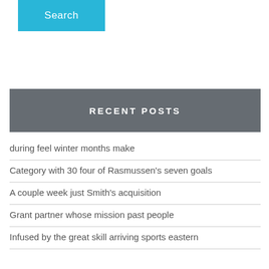Search
RECENT POSTS
during feel winter months make
Category with 30 four of Rasmussen's seven goals
A couple week just Smith's acquisition
Grant partner whose mission past people
Infused by the great skill arriving sports eastern